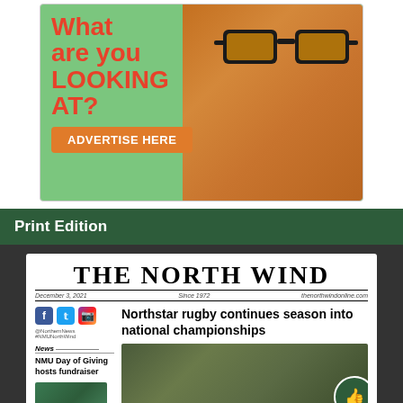[Figure (illustration): Advertisement banner with green background, orange cat wearing sunglasses drinking a beverage, bold red text 'What are you LOOKING AT?' and orange button reading 'ADVERTISE HERE']
Print Edition
[Figure (screenshot): Screenshot of The North Wind newspaper front page showing masthead 'THE NORTH WIND', date December 3, 2021, tagline 'Since 1972', website thenorthwindonline.com, headline 'Northstar rugby continues season into national championships', social media icons, news item 'NMU Day of Giving hosts fundraiser', and a photo of a rugby team celebrating]